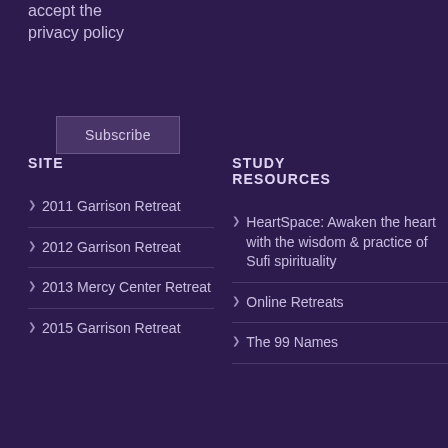accept the privacy policy
Subscribe
SITE
2011 Garrison Retreat
2012 Garrison Retreat
2013 Mercy Center Retreat
2015 Garrison Retreat
STUDY RESOURCES
HeartSpace: Awaken the heart with the wisdom & practice of Sufi spirituality
Online Retreats
The 99 Names